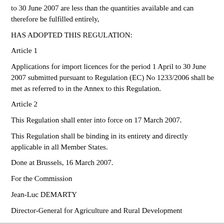to 30 June 2007 are less than the quantities available and can therefore be fulfilled entirely,
HAS ADOPTED THIS REGULATION:
Article 1
Applications for import licences for the period 1 April to 30 June 2007 submitted pursuant to Regulation (EC) No 1233/2006 shall be met as referred to in the Annex to this Regulation.
Article 2
This Regulation shall enter into force on 17 March 2007.
This Regulation shall be binding in its entirety and directly applicable in all Member States.
Done at Brussels, 16 March 2007.
For the Commission
Jean-Luc DEMARTY
Director-General for Agriculture and Rural Development